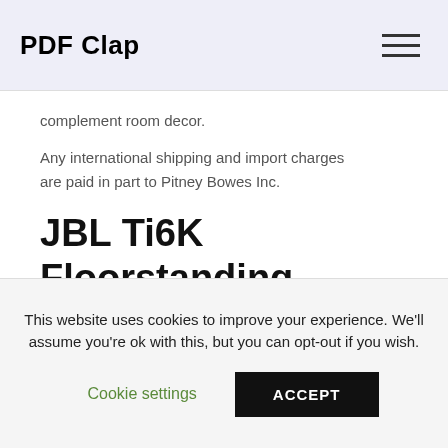PDF Clap
complement room decor.
Any international shipping and import charges are paid in part to Pitney Bowes Inc.
JBL Ti6K Floorstanding Speakers
This item will ship to United Statesbut the seller
This website uses cookies to improve your experience. We'll assume you're ok with this, but you can opt-out if you wish.